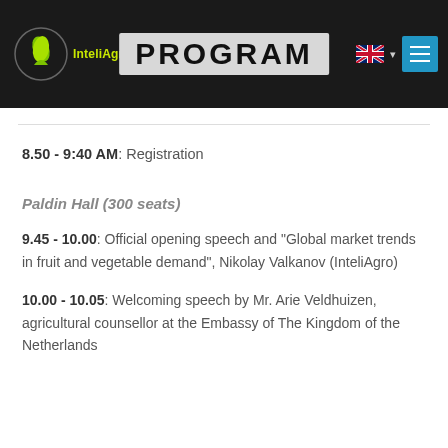InteliAgro PROGRAM
8.50 - 9:40 AM: Registration
Paldin Hall (300 seats)
9.45 - 10.00: Official opening speech and "Global market trends in fruit and vegetable demand", Nikolay Valkanov (InteliAgro)
10.00 - 10.05: Welcoming speech by Mr. Arie Veldhuizen, agricultural counsellor at the Embassy of The Kingdom of the Netherlands